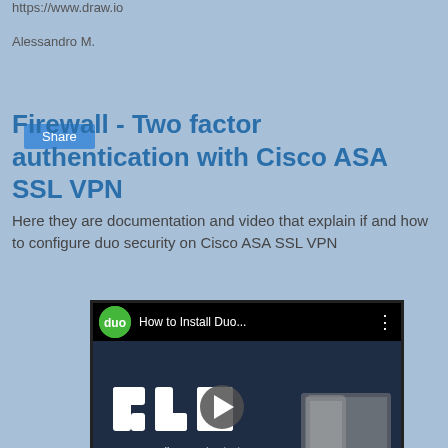https://www.draw.io
Alessandro M.
Share
Firewall - Two factor authentication with Cisco ASA SSL VPN
Here they are documentation and video that explain if and how to configure duo security on Cisco ASA SSL VPN
[Figure (screenshot): YouTube video thumbnail showing 'How to Install Duo...' video with Duo Security logo, play button overlay, Duo logo text, and caption 'How to Install Duo Authentication for Cisco ASA SSL VPN']